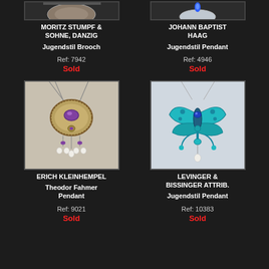[Figure (photo): Jugendstil Brooch by MORITZ STUMPF & SOHNE, Danzig - partially visible at top]
MORITZ STUMPF & SOHNE, Danzig
Jugendstil Brooch
Ref: 7942
Sold
[Figure (photo): Jugendstil Pendant by JOHANN BAPTIST HAAG - partially visible at top with blue gemstone]
JOHANN BAPTIST HAAG
Jugendstil Pendant
Ref: 4946
Sold
[Figure (photo): ERICH KLEINHEMPEL Theodor Fahmer Pendant - circular pendant with amethyst and pearl drops on chain]
ERICH KLEINHEMPEL
Theodor Fahmer Pendant
Ref: 9021
Sold
[Figure (photo): LEVINGER & BISSINGER Attrib. Jugendstil Pendant - turquoise enamel butterfly/dragonfly style pendant with pearl drop]
LEVINGER & BISSINGER Attrib.
Jugendstil Pendant
Ref: 10383
Sold